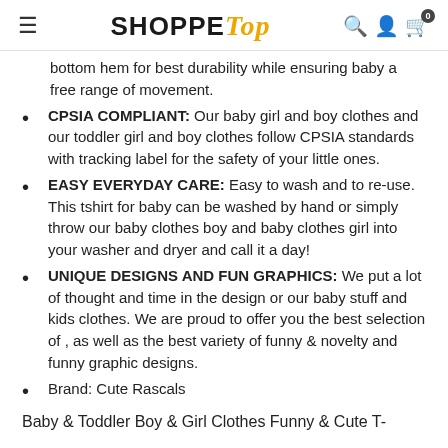SHOPPE Top
bottom hem for best durability while ensuring baby a free range of movement.
CPSIA COMPLIANT: Our baby girl and boy clothes and our toddler girl and boy clothes follow CPSIA standards with tracking label for the safety of your little ones.
EASY EVERYDAY CARE: Easy to wash and to re-use. This tshirt for baby can be washed by hand or simply throw our baby clothes boy and baby clothes girl into your washer and dryer and call it a day!
UNIQUE DESIGNS AND FUN GRAPHICS: We put a lot of thought and time in the design or our baby stuff and kids clothes. We are proud to offer you the best selection of , as well as the best variety of funny & novelty and funny graphic designs.
Brand: Cute Rascals
Baby & Toddler Boy & Girl Clothes Funny & Cute T-